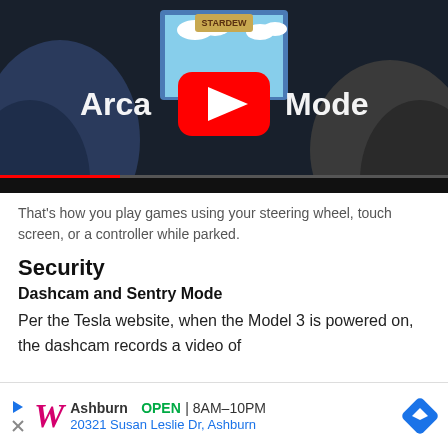[Figure (screenshot): YouTube video thumbnail showing Tesla Arcade Mode — two people in car seats with a large touchscreen displaying a game (Stardew Valley) with 'Arcade Mode' text overlaid and a YouTube play button in the center]
That's how you play games using your steering wheel, touch screen, or a controller while parked.
Security
Dashcam and Sentry Mode
Per the Tesla website, when the Model 3 is powered on, the dashcam records a video of
[Figure (infographic): Advertisement bar for Walgreens: Ashburn location, OPEN 8AM-10PM, 20321 Susan Leslie Dr, Ashburn, with Walgreens W logo and navigation arrow icon]